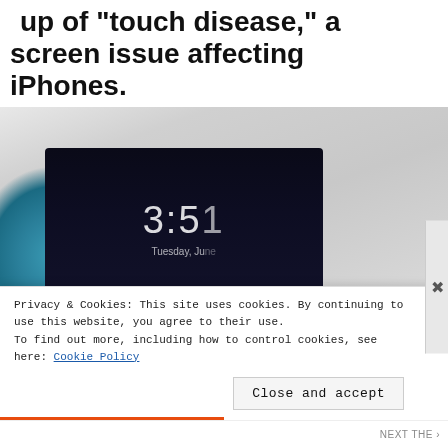up of "touch disease," a screen issue affecting iPhones.
[Figure (photo): A hand touching an iPhone screen showing 3:51 Tuesday, the phone held against a teal/blue fabric case and green card, silver iPhone body visible]
Privacy & Cookies: This site uses cookies. By continuing to use this website, you agree to their use.
To find out more, including how to control cookies, see here: Cookie Policy
Close and accept